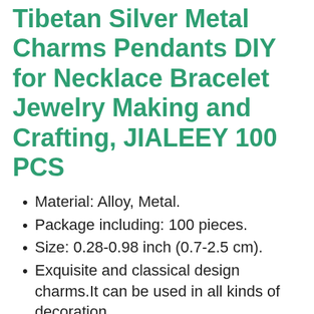Tibetan Silver Metal Charms Pendants DIY for Necklace Bracelet Jewelry Making and Crafting, JIALEEY 100 PCS
Material: Alloy, Metal.
Package including: 100 pieces.
Size: 0.28-0.98 inch (0.7-2.5 cm).
Exquisite and classical design charms.It can be used in all kinds of decoration.
Perfect for necklace, bracelet, dangle, scrapbooking project,